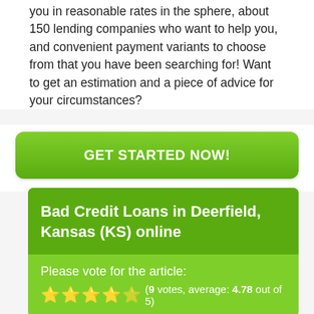you in reasonable rates in the sphere, about 150 lending companies who want to help you, and convenient payment variants to choose from that you have been searching for! Want to get an estimation and a piece of advice for your circumstances?
[Figure (other): Green rounded button with white bold text reading GET STARTED NOW!]
Bad Credit Loans in Deerfield, Kansas (KS) online
Please vote for the article: (9 votes, average: 4.78 out of 5)